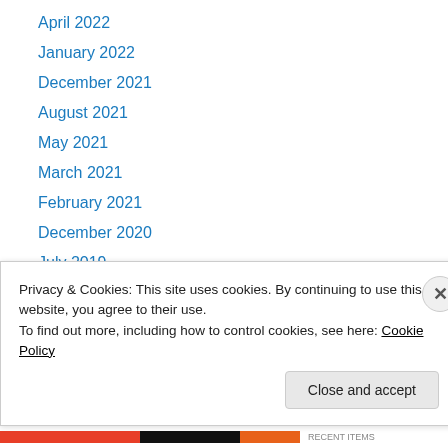April 2022
January 2022
December 2021
August 2021
May 2021
March 2021
February 2021
December 2020
July 2019
December 2018
October 2018
July 2018
May 2018
Privacy & Cookies: This site uses cookies. By continuing to use this website, you agree to their use. To find out more, including how to control cookies, see here: Cookie Policy
Close and accept